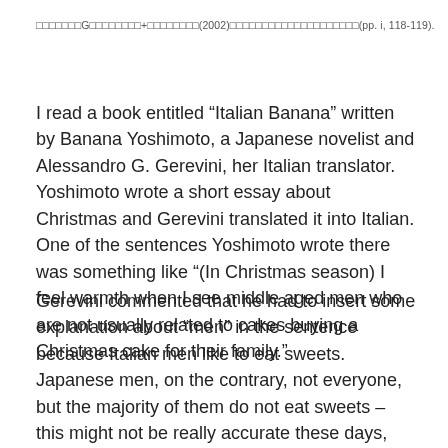□□□□□□□G□□□□□□□□+□□□□□□□□(2002)□□□□□□□□□□□□□□□□□□□□(pp. i, 118-119).
I read a book entitled “Italian Banana” written by Banana Yoshimoto, a Japanese novelist and Alessandro G. Gerevini, her Italian translator. Yoshimoto wrote a short essay about Christmas and Gerevini translated it into Italian. One of the sentences Yoshimoto wrote there was something like “(In Christmas season) I feel warmth when I see middle aged men who are not usually related to cakes buying a Christmas cake for their family.”
Gerevini commented that he had to insert some explanation about “men” in the sentence because Italian men like to eat sweets. Japanese men, on the contrary, not everyone, but the majority of them do not eat sweets – this might not be really accurate these days, but at least, there is a stereotypical image that men drink but do not eat sweets in Japan. Gerevini says if he translated the